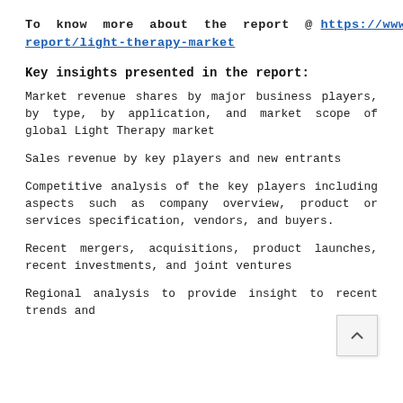To know more about the report @ https://www.emergenresearch.com/industry-report/light-therapy-market
Key insights presented in the report:
Market revenue shares by major business players, by type, by application, and market scope of global Light Therapy market
Sales revenue by key players and new entrants
Competitive analysis of the key players including aspects such as company overview, product or services specification, vendors, and buyers.
Recent mergers, acquisitions, product launches, recent investments, and joint ventures
Regional analysis to provide insight to recent trends and